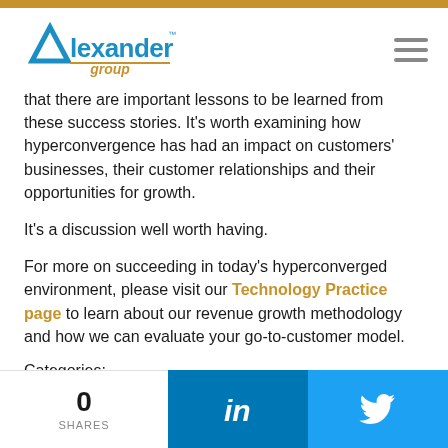Alexander Group logo and navigation
that there are important lessons to be learned from these success stories. It's worth examining how hyperconvergence has had an impact on customers' businesses, their customer relationships and their opportunities for growth.
It's a discussion well worth having.
For more on succeeding in today's hyperconverged environment, please visit our Technology Practice page to learn about our revenue growth methodology and how we can evaluate your go-to-customer model.
Categories:
0 SHARES | LinkedIn share | Twitter share